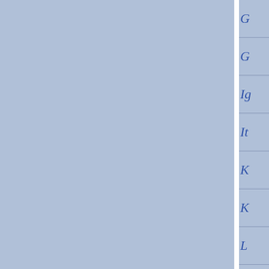[Figure (other): Index tab navigation panel on the right side of the page. Blue background with white vertical divider. Right panel shows alphabetical index tabs with italic blue letters: G, G, Ig, It, K, K, L, M, M, M, M, M, N, N, O, O]
G
G
Ig
It
K
K
L
M
M
M
M
M
N
N
O
O